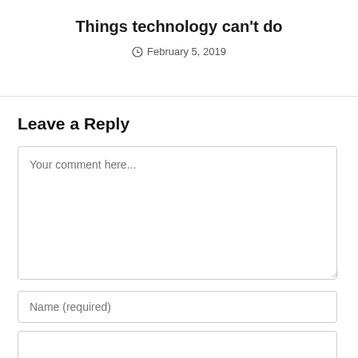Things technology can't do
February 5, 2019
Leave a Reply
Your comment here...
Name (required)